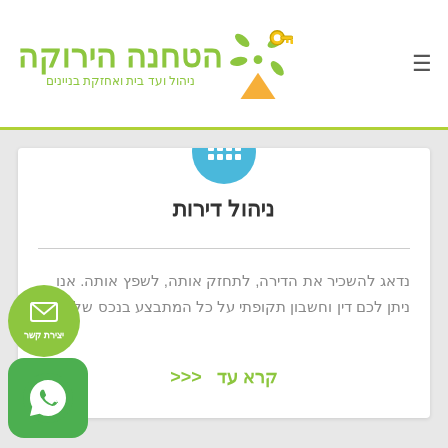הטחנה הירוקה - ניהול ועד בית ואחזקת בניינים
ניהול דירות
נדאג להשכיר את הדירה, לתחזק אותה, לשפץ אותה. אנו ניתן לכם דין וחשבון תקופתי על כל המתבצע בנכס שלכם
קרא עד <<<